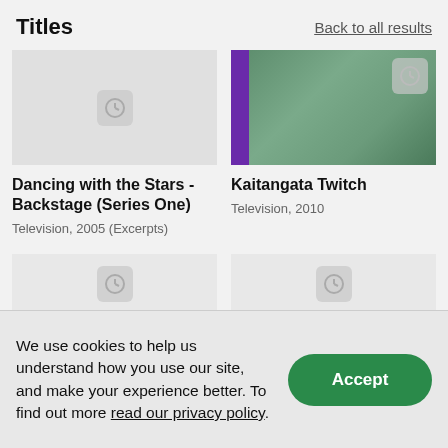Titles
Back to all results
[Figure (screenshot): Thumbnail placeholder with clock icon for Dancing with the Stars - Backstage (Series One)]
[Figure (photo): Thumbnail image for Kaitangata Twitch showing green/teal nature scene with clock icon overlay]
Dancing with the Stars - Backstage (Series One)
Television, 2005 (Excerpts)
Kaitangata Twitch
Television, 2010
[Figure (screenshot): Thumbnail placeholder with clock icon]
[Figure (screenshot): Thumbnail placeholder with clock icon]
We use cookies to help us understand how you use our site, and make your experience better. To find out more read our privacy policy.